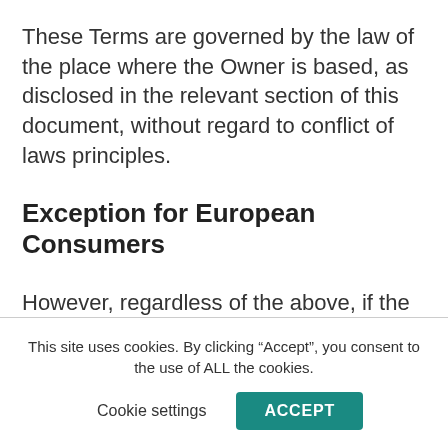These Terms are governed by the law of the place where the Owner is based, as disclosed in the relevant section of this document, without regard to conflict of laws principles.
Exception for European Consumers
However, regardless of the above, if the User
This site uses cookies. By clicking “Accept”, you consent to the use of ALL the cookies.
Cookie settings
ACCEPT